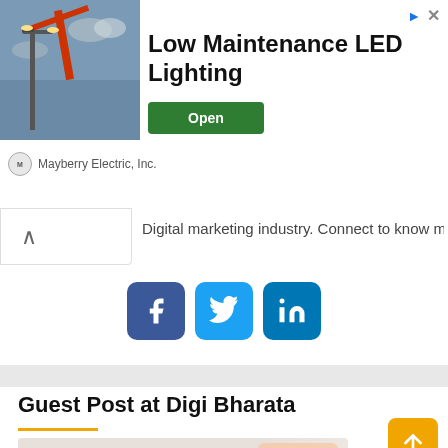[Figure (screenshot): Advertisement banner for Low Maintenance LED Lighting by Mayberry Electric, Inc. with photo of street lamp and green Open button]
Digital marketing industry. Connect to know more.
[Figure (infographic): Social media icons: Facebook, Twitter, LinkedIn]
Guest Post at Digi Bharata
[Figure (screenshot): GET BEST DEALS - Increase website rank by dofollow link - GET DETAILS button - woman with sunglasses]